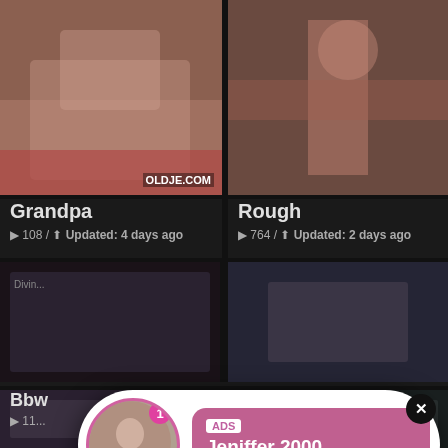[Figure (photo): Adult video thumbnail - Grandpa category, top left]
[Figure (photo): Adult video thumbnail - Rough category, top right]
Grandpa
▶ 108 / ⬆ Updated: 4 days ago
Rough
▶ 764 / ⬆ Updated: 2 days ago
[Figure (photo): Live ad overlay - Jeniffer 2000 with LIVE badge and ADS tag]
ADS
Jeniffer 2000
(00:12)🎵
[Figure (photo): Adult video thumbnail - BBW category]
Bbw
▶ 11...
[Figure (photo): What Do You Want ad overlay with WATCH button, Online indicator, thumbnails, and text: Cumming, ass fucking, squirt or... • ADS]